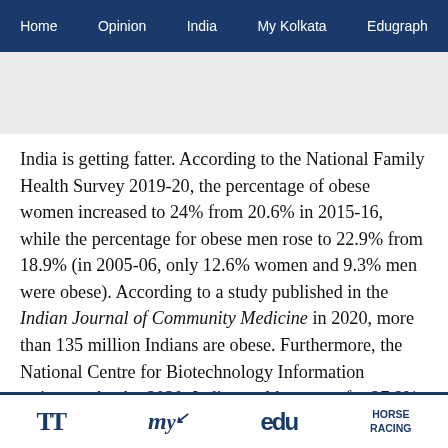Home  Opinion  India  My Kolkata  Edugraph
India is getting fatter. According to the National Family Health Survey 2019-20, the percentage of obese women increased to 24% from 20.6% in 2015-16, while the percentage for obese men rose to 22.9% from 18.9% (in 2005-06, only 12.6% women and 9.3% men were obese). According to a study published in the Indian Journal of Community Medicine in 2020, more than 135 million Indians are obese. Furthermore, the National Centre for Biotechnology Information estimates that by 2030, India would account for 27.8% of global obesity, which would account for 5% of the world population. The rise in obesity among Indians is alarming since it is the
TT  my  edu  HORSE RACING